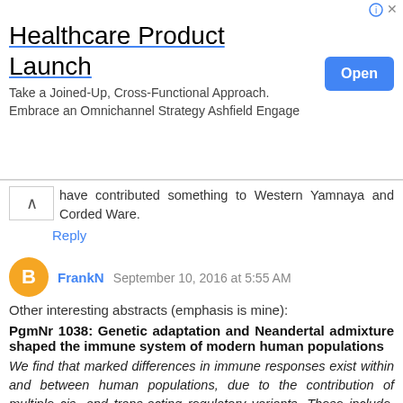[Figure (screenshot): Advertisement banner for 'Healthcare Product Launch' with an 'Open' button]
have contributed something to Western Yamnaya and Corded Ware.
Reply
FrankN  September 10, 2016 at 5:55 AM
Other interesting abstracts (emphasis is mine):
PgmNr 1038: Genetic adaptation and Neandertal admixture shaped the immune system of modern human populations
We find that marked differences in immune responses exist within and between human populations, due to the contribution of multiple cis- and trans-acting regulatory variants. These include, for example, a TLR1 trans-regulatory hotspot associated with the expression of a large gene network of 101 genes, which decreases the